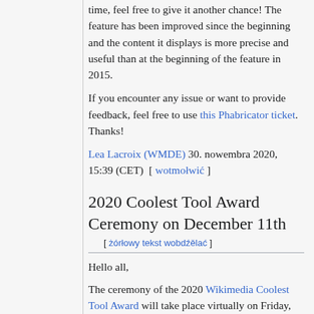time, feel free to give it another chance! The feature has been improved since the beginning and the content it displays is more precise and useful than at the beginning of the feature in 2015.
If you encounter any issue or want to provide feedback, feel free to use this Phabricator ticket. Thanks!
Lea Lacroix (WMDE) 30. nowembra 2020, 15:39 (CET) [ wotmołwić ]
2020 Coolest Tool Award Ceremony on December 11th
[ żórłowy tekst wobdźělać ]
Hello all,
The ceremony of the 2020 Wikimedia Coolest Tool Award will take place virtually on Friday, December 11th, at 17:00 GMT. This award is highlighting